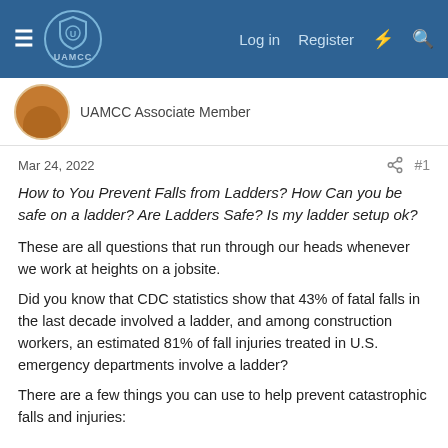UAMCC — Log in  Register
UAMCC Associate Member
Mar 24, 2022   #1
How to You Prevent Falls from Ladders? How Can you be safe on a ladder? Are Ladders Safe? Is my ladder setup ok?
These are all questions that run through our heads whenever we work at heights on a jobsite.
Did you know that CDC statistics show that 43% of fatal falls in the last decade involved a ladder, and among construction workers, an estimated 81% of fall injuries treated in U.S. emergency departments involve a ladder?
There are a few things you can use to help prevent catastrophic falls and injuries: